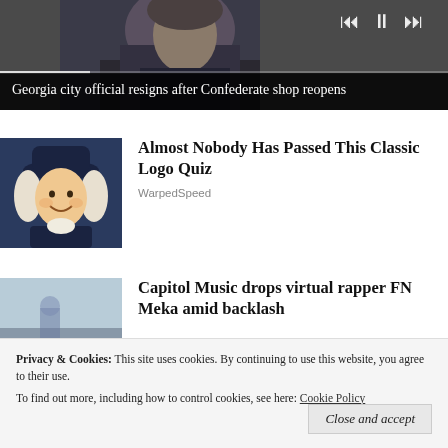[Figure (screenshot): Video thumbnail showing a man in a suit, partial face visible, with video playback controls (skip back, pause, skip forward) in upper right. Progress bar across bottom of video area.]
Georgia city official resigns after Confederate shop reopens
[Figure (illustration): Illustration of the Quaker Oats man character — a smiling colonial-era figure with white wig and wide-brimmed hat, wearing dark coat with white collar.]
Almost Nobody Has Passed This Classic Logo Quiz
WarpedSpeed
[Figure (photo): Photo with pale blue sky background, partial image of a figure or object, cropped.]
Capitol Music drops virtual rapper FN Meka amid backlash
Privacy & Cookies:  This site uses cookies. By continuing to use this website, you agree to their use.
To find out more, including how to control cookies, see here: Cookie Policy
Close and accept
[Figure (photo): Bottom strip showing partial outdoor scene with trees.]